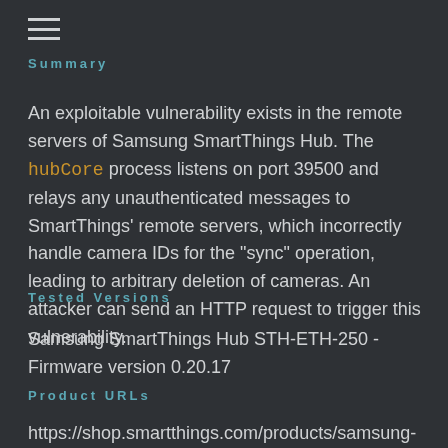Summary
An exploitable vulnerability exists in the remote servers of Samsung SmartThings Hub. The hubCore process listens on port 39500 and relays any unauthenticated messages to SmartThings' remote servers, which incorrectly handle camera IDs for the "sync" operation, leading to arbitrary deletion of cameras. An attacker can send an HTTP request to trigger this vulnerability.
Tested Versions
Samsung SmartThings Hub STH-ETH-250 - Firmware version 0.20.17
Product URLs
https://shop.smartthings.com/products/samsung-